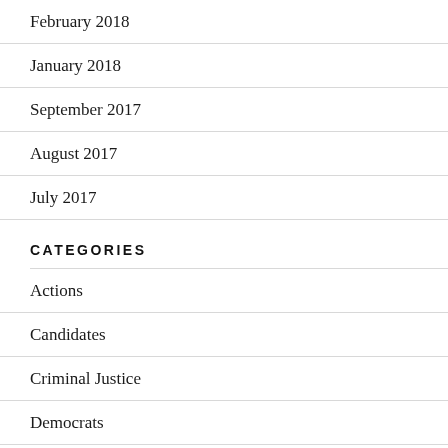February 2018
January 2018
September 2017
August 2017
July 2017
CATEGORIES
Actions
Candidates
Criminal Justice
Democrats